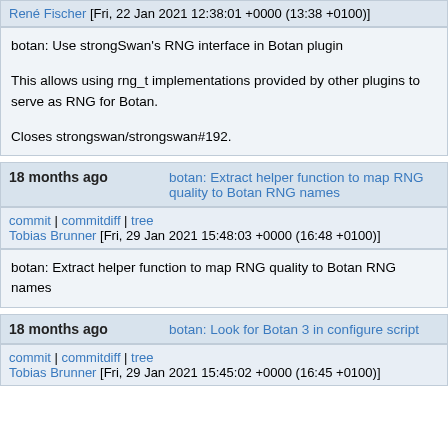René Fischer [Fri, 22 Jan 2021 12:38:01 +0000 (13:38 +0100)]
botan: Use strongSwan's RNG interface in Botan plugin

This allows using rng_t implementations provided by other plugins to serve as RNG for Botan.

Closes strongswan/strongswan#192.
18 months ago   botan: Extract helper function to map RNG quality to Botan RNG names
commit | commitdiff | tree
Tobias Brunner [Fri, 29 Jan 2021 15:48:03 +0000 (16:48 +0100)]
botan: Extract helper function to map RNG quality to Botan RNG names
18 months ago   botan: Look for Botan 3 in configure script
commit | commitdiff | tree
Tobias Brunner [Fri, 29 Jan 2021 15:45:02 +0000 (16:45 +0100)]